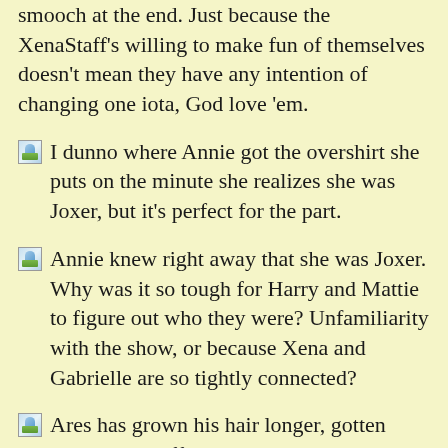smooch at the end. Just because the XenaStaff's willing to make fun of themselves doesn't mean they have any intention of changing one iota, God love 'em.
I dunno where Annie got the overshirt she puts on the minute she realizes she was Joxer, but it's perfect for the part.
Annie knew right away that she was Joxer. Why was it so tough for Harry and Mattie to figure out who they were? Unfamiliarity with the show, or because Xena and Gabrielle are so tightly connected?
Ares has grown his hair longer, gotten even more buff... and turned wussier. It was fun to see him after a season of silence, but Y2K? Couldn't XenaStaff have come up with something less cliched? Humbug.
The Harry-Ares fight was pretty fun, especially the creative uses of a bean bag chair